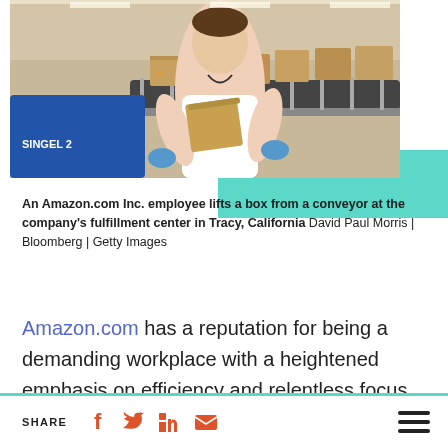[Figure (photo): An Amazon.com Inc. employee lifts a box from a conveyor belt at the company's fulfillment center in Tracy, California. Amazon boxes visible on conveyor. Worker in white shirt.]
An Amazon.com Inc. employee lifts a box from a conveyor at the company's fulfillment center in Tracy, California David Paul Morris | Bloomberg | Getty Images
Amazon.com has a reputation for being a demanding workplace with a heightened emphasis on efficiency and relentless focus on
SHARE